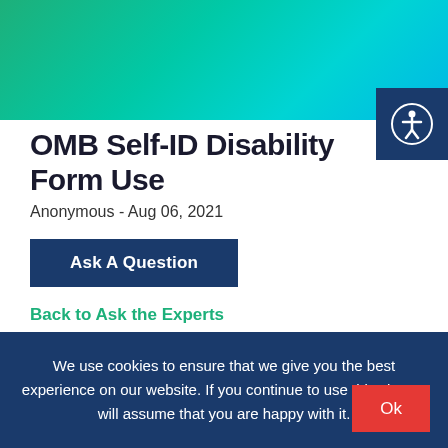[Figure (other): Green teal gradient header banner]
OMB Self-ID Disability Form Use
Anonymous - Aug 06, 2021
Ask A Question
Back to Ask the Experts
Hello, I like to know if during the 5 year solicitation to
We use cookies to ensure that we give you the best experience on our website. If you continue to use this site we will assume that you are happy with it.